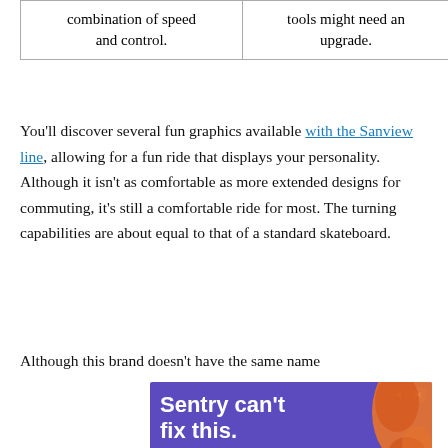| combination of speed and control. | tools might need an upgrade. |
You'll discover several fun graphics available with the Sanview line, allowing for a fun ride that displays your personality. Although it isn't as comfortable as more extended designs for commuting, it's still a comfortable ride for most. The turning capabilities are about equal to that of a standard skateboard.
Although this brand doesn't have the same name
[Figure (other): Advertisement banner for Sentry with text 'Sentry can't fix this.' on a purple background with an illustrated scene of a person with a phone and a monster/creature in orange.]